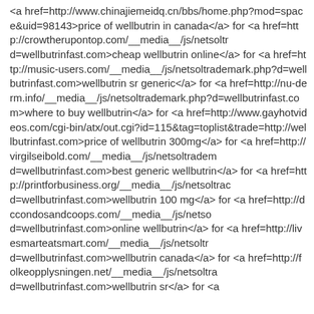<a href=http://www.chinajiemeidq.cn/bbs/home.php?mod=space&uid=98143>price of wellbutrin in canada</a> for <a href=http://crowtherupontop.com/__media__/js/netsoltrademark.php?d=wellbutrinfast.com>cheap wellbutrin online</a> for <a href=http://music-users.com/__media__/js/netsoltrademark.php?d=wellbutrinfast.com>wellbutrin sr generic</a> for <a href=http://nu-derm.info/__media__/js/netsoltrademark.php?d=wellbutrinfast.com>where to buy wellbutrin</a> for <a href=http://www.gayhotvideos.com/cgi-bin/atx/out.cgi?id=115&tag=toplist&trade=http://wellbutrinfast.com>price of wellbutrin 300mg</a> for <a href=http://virgilseibold.com/__media__/js/netsoltrademark.php?d=wellbutrinfast.com>best generic wellbutrin</a> for <a href=http://printforbusiness.org/__media__/js/netsoltrademark.php?d=wellbutrinfast.com>wellbutrin 100 mg</a> for <a href=http://dccondosandcoops.com/__media__/js/netsoltrademark.php?d=wellbutrinfast.com>online wellbutrin</a> for <a href=http://livesmarteatsmart.com/__media__/js/netsoltrademark.php?d=wellbutrinfast.com>wellbutrin canada</a> for <a href=http://folkeopplysningen.net/__media__/js/netsoltrademark.php?d=wellbutrinfast.com>wellbutrin sr</a> for <a